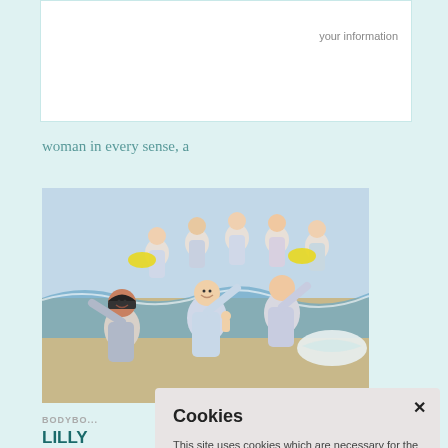your information
woman in every sense, a
[Figure (photo): Group of children on a beach smiling and waving at the camera, wearing light-colored long-sleeve tops, with ocean and sand in the background]
BODYBO...
LILLY... State... Enoug... Boobies & butts
Cookies

This site uses cookies which are necessary for the Shopping Cart Find out more.